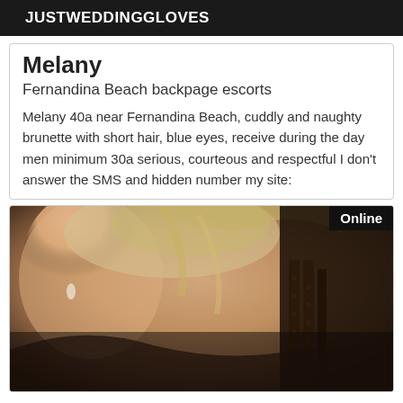JUSTWEDDINGGLOVES
Melany
Fernandina Beach backpage escorts
Melany 40a near Fernandina Beach, cuddly and naughty brunette with short hair, blue eyes, receive during the day men minimum 30a serious, courteous and respectful I don't answer the SMS and hidden number my site:
[Figure (photo): Close-up photo of a blonde woman wearing black lace clothing, with an 'Online' badge in the top-right corner]